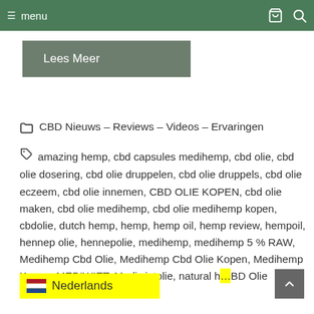informatie over ...
menu (navigation bar with cart and search icons)
Lees Meer
CBD Nieuws - Reviews - Videos - Ervaringen
amazing hemp, cbd capsules medihemp, cbd olie, cbd olie dosering, cbd olie druppelen, cbd olie druppels, cbd olie eczeem, cbd olie innemen, CBD OLIE KOPEN, cbd olie maken, cbd olie medihemp, cbd olie medihemp kopen, cbdolie, dutch hemp, hemp, hemp oil, hemp review, hempoil, hennep olie, hennepolie, medihemp, medihemp 5 % RAW, Medihemp Cbd Olie, Medihemp Cbd Olie Kopen, Medihemp Kopen, MEDIWIET, Mediwietolie, natural h... BD Olie
Nederlands